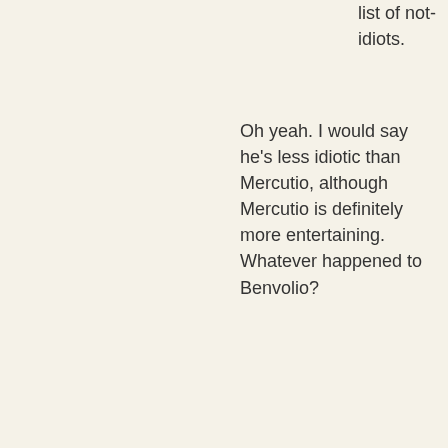list of not-idiots.
Oh yeah. I would say he's less idiotic than Mercutio, although Mercutio is definitely more entertaining. Whatever happened to Benvolio?
Klutor the Ninth Mar 19th 2011
And I'd add Benvolio to the list of not-idiots.